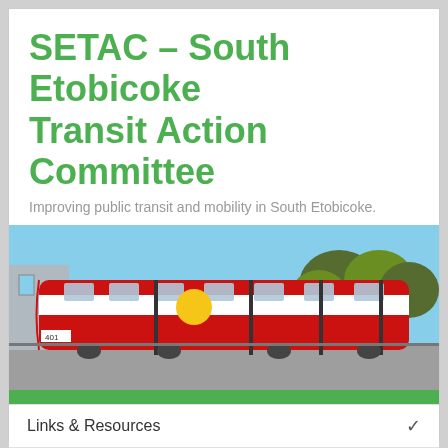SETAC – South Etobicoke Transit Action Committee
Improving public transit and mobility in South Etobicoke.
[Figure (photo): A red and white articulated TTC streetcar/tram parked outdoors, with trees and an urban background visible.]
Links & Resources
Service Improvement